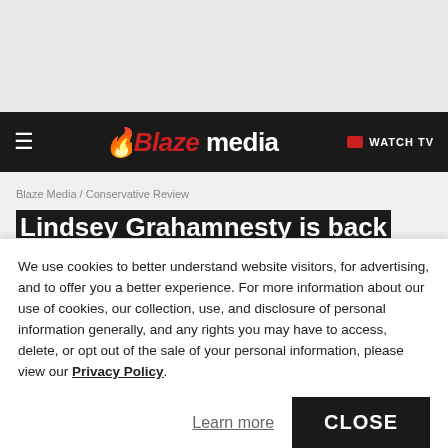[Figure (screenshot): Top gray banner area of website]
Blaze media - WATCH TV
Blaze Media / Conservative Review
Lindsey Grahamnesty is back with a DACA deal Republicans would be fools to take
We use cookies to better understand website visitors, for advertising, and to offer you a better experience. For more information about our use of cookies, our collection, use, and disclosure of personal information generally, and any rights you may have to access, delete, or opt out of the sale of your personal information, please view our Privacy Policy.
Learn more
CLOSE